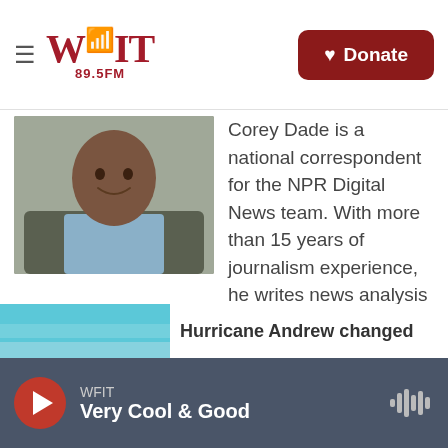WFIT 89.5FM — Donate
[Figure (photo): Headshot of Corey Dade, a man in a gray jacket and light blue shirt, smiling against a gray background.]
Corey Dade is a national correspondent for the NPR Digital News team. With more than 15 years of journalism experience, he writes news analysis about federal policy, national politics, social trends, cultural issues and other topics for NPR.org.
See stories by Corey Dade
[Figure (photo): Partial thumbnail image of a hurricane-related article.]
Hurricane Andrew changed
WFIT Very Cool & Good